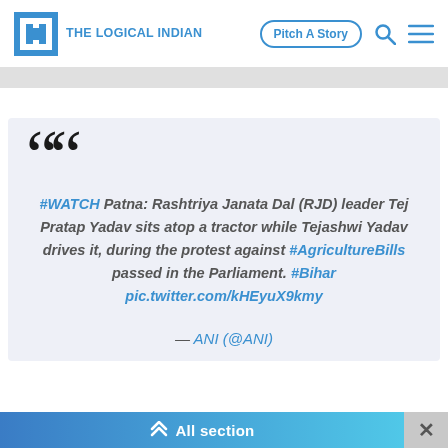THE LOGICAL INDIAN | Pitch A Story
#WATCH Patna: Rashtriya Janata Dal (RJD) leader Tej Pratap Yadav sits atop a tractor while Tejashwi Yadav drives it, during the protest against #AgricultureBills passed in the Parliament. #Bihar pic.twitter.com/kHEyuX9kmy
— ANI (@ANI)
All section